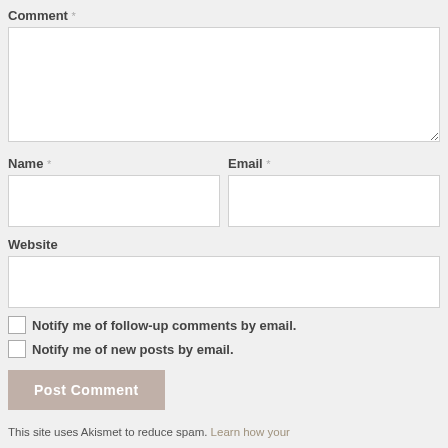Comment *
Name *
Email *
Website
Notify me of follow-up comments by email.
Notify me of new posts by email.
Post Comment
This site uses Akismet to reduce spam. Learn how your